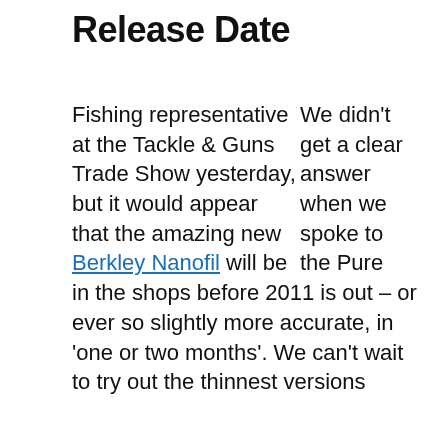Release Date
We didn't get a clear answer when we spoke to the Pure Fishing representative at the Tackle & Guns Trade Show yesterday, but it would appear that the amazing new Berkley Nanofil will be in the shops before 2011 is out – or ever so slightly more accurate, in 'one or two months'. We can't wait to try out the thinnest versions